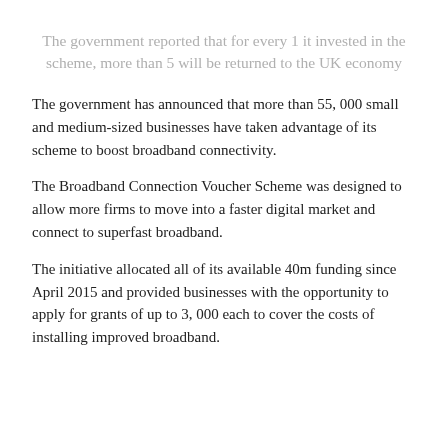The government reported that for every 1 it invested in the scheme, more than 5 will be returned to the UK economy
The government has announced that more than 55, 000 small and medium-sized businesses have taken advantage of its scheme to boost broadband connectivity.
The Broadband Connection Voucher Scheme was designed to allow more firms to move into a faster digital market and connect to superfast broadband.
The initiative allocated all of its available 40m funding since April 2015 and provided businesses with the opportunity to apply for grants of up to 3, 000 each to cover the costs of installing improved broadband.